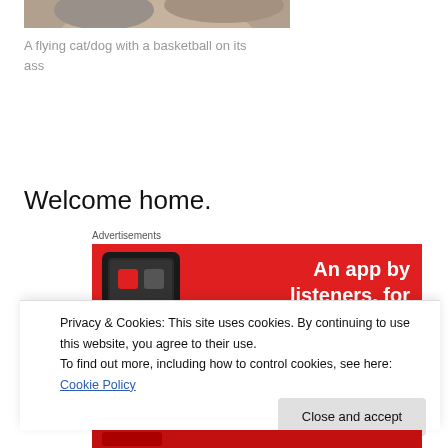[Figure (photo): Partial image of a flying cat/dog with a basketball on its ass, cropped at top]
A flying cat/dog with a basketball on its ass
Welcome home.
Advertisements
[Figure (screenshot): Red advertisement banner showing a smartphone and text 'An app by listeners, for']
Privacy & Cookies: This site uses cookies. By continuing to use this website, you agree to their use.
To find out more, including how to control cookies, see here: Cookie Policy
Close and accept